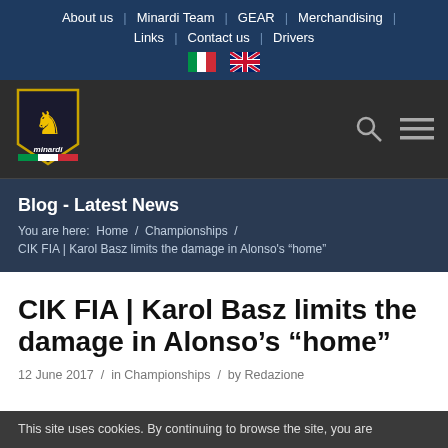About us | Minardi Team | GEAR | Merchandising | Links | Contact us | Drivers
[Figure (logo): Minardi team logo with golden lion on shield and Italian flag colors]
Blog - Latest News
You are here: Home / Championships / CIK FIA | Karol Basz limits the damage in Alonso's “home”
CIK FIA | Karol Basz limits the damage in Alonso’s “home”
12 June 2017  /  in Championships  /  by Redazione
This site uses cookies. By continuing to browse the site, you are